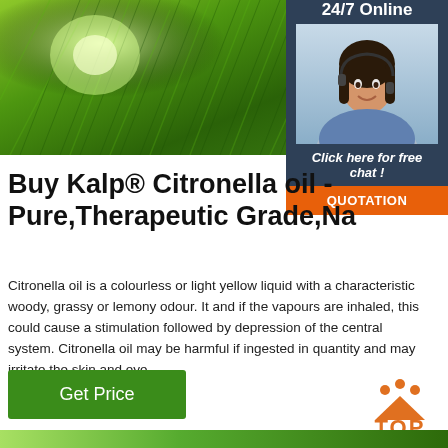[Figure (photo): Close-up photo of green pine/citronella plant needles with bright light shining through]
[Figure (photo): Customer service agent photo with 24/7 Online badge, Click here for free chat text, and QUOTATION button]
Buy Kalp® Citronella oil - Pure,Therapeutic Grade,Na
Citronella oil is a colourless or light yellow liquid with a characteristic woody, grassy or lemony odour. It and if the vapours are inhaled, this could cause a stimulation followed by depression of the central system. Citronella oil may be harmful if ingested in quantity and may irritate the skin and eye.
[Figure (logo): TOP logo in orange with triangle and dots]
Get Price